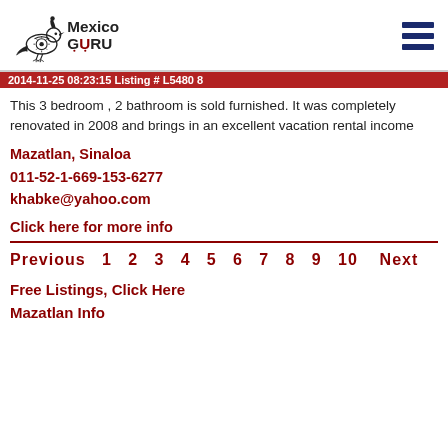[Figure (logo): Mexico Guru logo with stylized bird icon]
2014-11-25 08:23:15 Listing # L5480 8
This 3 bedroom , 2 bathroom is sold furnished. It was completely renovated in 2008 and brings in an excellent vacation rental income
Mazatlan, Sinaloa
011-52-1-669-153-6277
khabke@yahoo.com
Click here for more info
Previous  1  2  3  4  5  6  7  8  9  10    Next
Free Listings, Click Here
Mazatlan Info